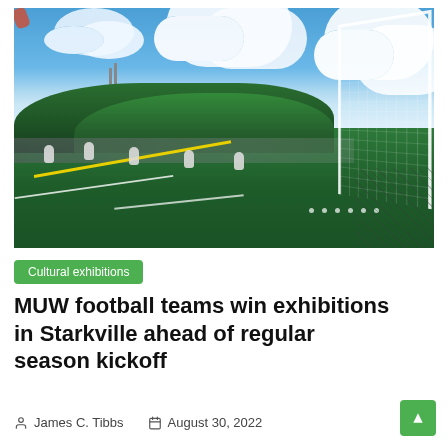[Figure (photo): Soccer/football match being played on a green artificial turf field with white goal post visible on the right side, players in white uniforms scattered across the field, trees in the background, blue sky with clouds, parking lot with cars visible behind the field.]
Cultural exhibitions
MUW football teams win exhibitions in Starkville ahead of regular season kickoff
James C. Tibbs   August 30, 2022